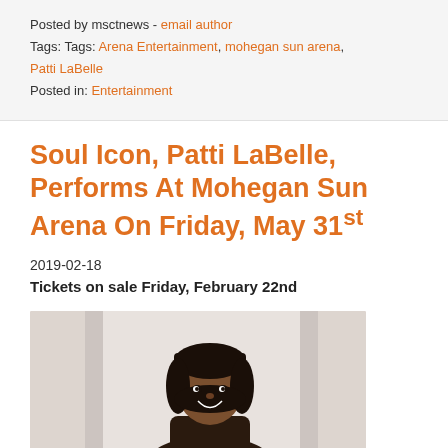Posted by msctnews - email author
Tags: Tags: Arena Entertainment, mohegan sun arena, Patti LaBelle
Posted in: Entertainment
Soul Icon, Patti LaBelle, Performs At Mohegan Sun Arena On Friday, May 31st
2019-02-18
Tickets on sale Friday, February 22nd
[Figure (photo): Photo of Patti LaBelle smiling, wearing dark hair with bangs, light background]